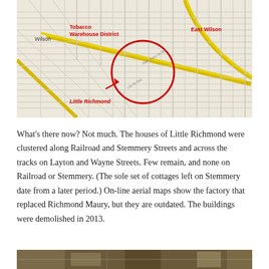[Figure (map): Street map of Wilson, NC showing the Tobacco Warehouse District, East Wilson, and Little Richmond neighborhoods. A red circle highlights the Little Richmond area near Railroad and Stemmery Streets, with a red arrow pointing to it and red label text reading 'Little Richmond'. Yellow roads indicate major roads; the map shows a street grid.]
What's there now? Not much. The houses of Little Richmond were clustered along Railroad and Stemmery Streets and across the tracks on Layton and Wayne Streets. Few remain, and none on Railroad or Stemmery. (The sole set of cottages left on Stemmery date from a later period.) On-line aerial maps show the factory that replaced Richmond Maury, but they are outdated. The buildings were demolished in 2013.
[Figure (photo): Aerial photograph showing the Little Richmond area of Wilson, NC. The image shows demolished or cleared land with some remaining structures visible.]